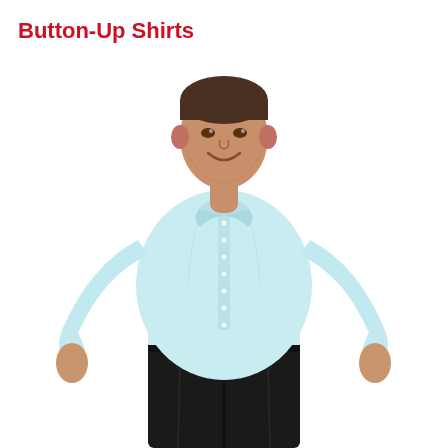Button-Up Shirts
[Figure (photo): A man wearing a light blue long-sleeve button-up shirt and dark black trousers, smiling, shown from about mid-thigh up against a white background.]